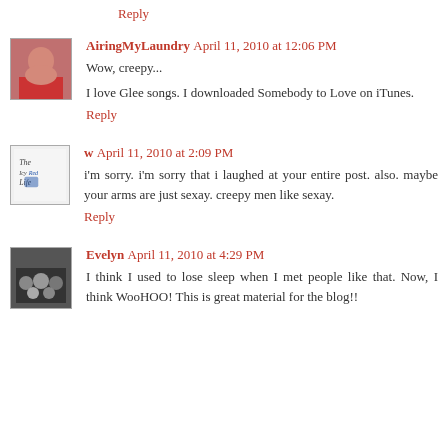Reply
AiringMyLaundry April 11, 2010 at 12:06 PM
Wow, creepy...
I love Glee songs. I downloaded Somebody to Love on iTunes.
Reply
w April 11, 2010 at 2:09 PM
i'm sorry. i'm sorry that i laughed at your entire post. also. maybe your arms are just sexay. creepy men like sexay.
Reply
Evelyn April 11, 2010 at 4:29 PM
I think I used to lose sleep when I met people like that. Now, I think WooHOO! This is great material for the blog!!